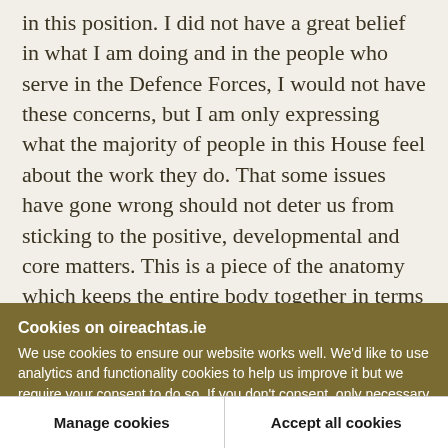in this position. I did not have a great belief in what I am doing and in the people who serve in the Defence Forces, I would not have these concerns, but I am only expressing what the majority of people in this House feel about the work they do. That some issues have gone wrong should not deter us from sticking to the positive, developmental and core matters. This is a piece of the anatomy which keeps the entire body together in terms of manpower, management and, I hope by the end of the week, this legislation will be presented to the President
Cookies on oireachtas.ie
We use cookies to ensure our website works well. We'd like to use analytics and functionality cookies to help us improve it but we require your consent to do so. If you don't consent, only necessary cookies will be used. Read more about our cookies
Manage cookies
Accept all cookies